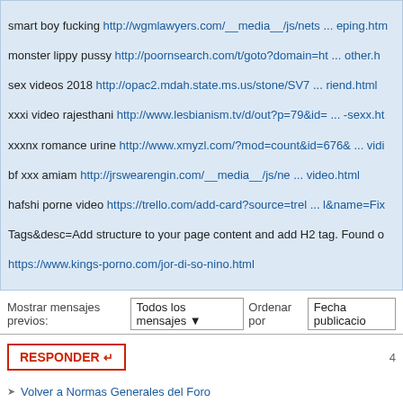smart boy fucking http://wgmlawyers.com/__media__/js/nets ... eping.htm
monster lippy pussy http://poornsearch.com/t/goto?domain=ht ... other.h
sex videos 2018 http://opac2.mdah.state.ms.us/stone/SV7 ... riend.html
xxxi video rajesthani http://www.lesbianism.tv/d/out?p=79&id= ... -sexx.ht
xxxnx romance urine http://www.xmyzl.com/?mod=count&id=676& ... vidi
bf xxx amiam http://jrswearengin.com/__media__/js/ne ... video.html
hafshi porne video https://trello.com/add-card?source=trel ... l&name=Fix
Tags&desc=Add structure to your page content and add H2 tag. Found o
https://www.kings-porno.com/jor-di-so-nino.html
Mostrar mensajes previos: Todos los mensajes  Ordenar por  Fecha publicacio
RESPONDER
Volver a Normas Generales del Foro
Normas Generales del Foro
¿QUIÉN ESTÁ CONECTADO?
Usuarios navegando por este Foro: vollrathian y 6 invitados
Indice general   El Equipo • Borrar todas las cookies del
Desarrollado por phpBB® Forum Software © phpBB
Traducción al español por Huan Manwë para phpbb-e